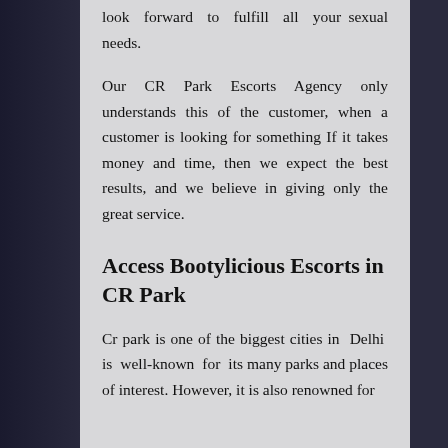look forward to fulfill all your sexual needs.
Our CR Park Escorts Agency only understands this of the customer, when a customer is looking for something If it takes money and time, then we expect the best results, and we believe in giving only the great service.
Access Bootylicious Escorts in CR Park
Cr park is one of the biggest cities in Delhi is well-known for its many parks and places of interest. However, it is also renowned for